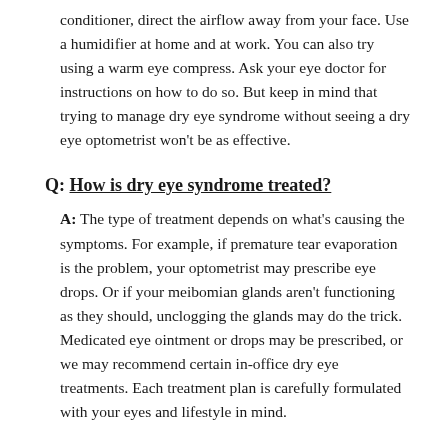conditioner, direct the airflow away from your face. Use a humidifier at home and at work. You can also try using a warm eye compress. Ask your eye doctor for instructions on how to do so. But keep in mind that trying to manage dry eye syndrome without seeing a dry eye optometrist won't be as effective.
Q: How is dry eye syndrome treated?
A: The type of treatment depends on what's causing the symptoms. For example, if premature tear evaporation is the problem, your optometrist may prescribe eye drops. Or if your meibomian glands aren't functioning as they should, unclogging the glands may do the trick. Medicated eye ointment or drops may be prescribed, or we may recommend certain in-office dry eye treatments. Each treatment plan is carefully formulated with your eyes and lifestyle in mind.